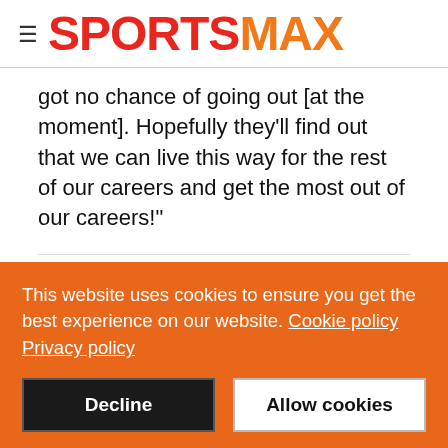SPORTSMAX
got no chance of going out [at the moment]. Hopefully they'll find out that we can live this way for the rest of our careers and get the most out of our careers!"
[Figure (other): Tweet button with Twitter bird icon]
This website uses cookies to ensure you get the best experience on our website. Cookie policy Privacy policy
Decline | Allow cookies